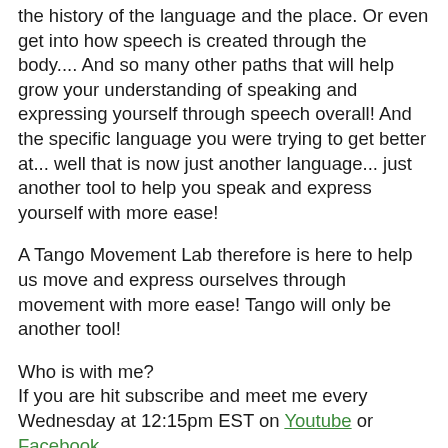the history of the language and the place. Or even get into how speech is created through the body.... And so many other paths that will help grow your understanding of speaking and expressing yourself through speech overall! And the specific language you were trying to get better at... well that is now just another language... just another tool to help you speak and express yourself with more ease!
A Tango Movement Lab therefore is here to help us move and express ourselves through movement with more ease! Tango will only be another tool!
Who is with me?
If you are hit subscribe and meet me every Wednesday at 12:15pm EST on Youtube or Facebook
😉
[Figure (logo): Avatar box with a shield icon and the name 'Chrisa']